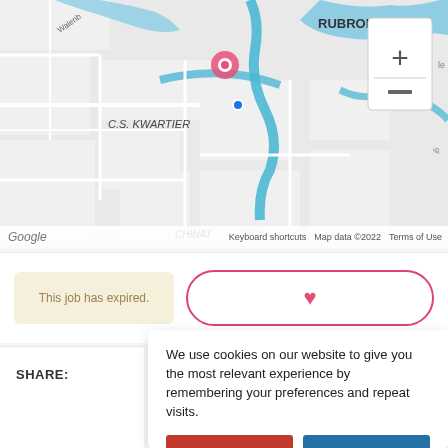[Figure (map): Street map showing C.S. KWARTIER, RUBROEK, and CHINATOWN areas with a pink location pin marker, blue water/canal elements, and Google Maps zoom controls (+/-). Map footer shows 'Google', 'Keyboard shortcuts', 'Map data ©2022', 'Terms of Use'.]
This job has expired.
[Figure (other): Heart icon button with pink border (favorite/save button)]
SHARE:
We use cookies on our website to give you the most relevant experience by remembering your preferences and repeat visits.
Cookie Settings
Privacy